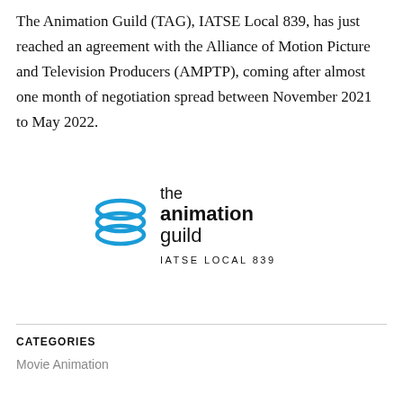The Animation Guild (TAG), IATSE Local 839, has just reached an agreement with the Alliance of Motion Picture and Television Producers (AMPTP), coming after almost one month of negotiation spread between November 2021 to May 2022.
[Figure (logo): The Animation Guild IATSE Local 839 logo — blue interlocking oval rings icon on the left, with 'the animation guild' text on the right and 'IATSE LOCAL 839' below in spaced capitals.]
CATEGORIES
Movie Animation